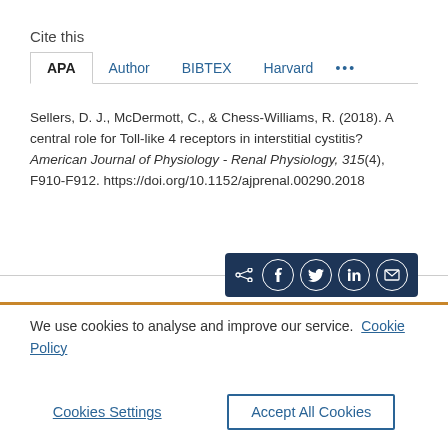Cite this
APA | Author | BIBTEX | Harvard | ...
Sellers, D. J., McDermott, C., & Chess-Williams, R. (2018). A central role for Toll-like 4 receptors in interstitial cystitis? American Journal of Physiology - Renal Physiology, 315(4), F910-F912. https://doi.org/10.1152/ajprenal.00290.2018
We use cookies to analyse and improve our service. Cookie Policy
Cookies Settings
Accept All Cookies